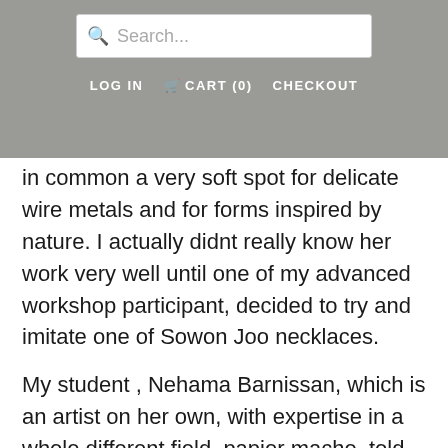Search... | LOG IN | CART (0) | CHECKOUT
in common a very soft spot for delicate wire metals and for forms inspired by nature. I actually didnt really know her work very well until one of my advanced workshop participant, decided to try and imitate one of Sowon Joo necklaces.
My student , Nehama Barnissan, which is an artist on her own, with expertise in a whole different field, papier mache, told me that one of her early art teachers told her that the best way to learn, is by first imitating, coming to think about it this is exactly how kids learn.